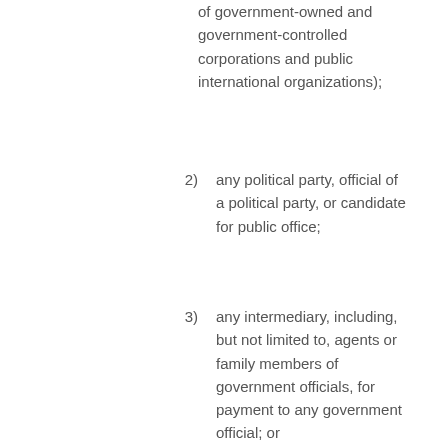of government-owned and government-controlled corporations and public international organizations);
2) any political party, official of a political party, or candidate for public office;
3) any intermediary, including, but not limited to, agents or family members of government officials, for payment to any government official; or